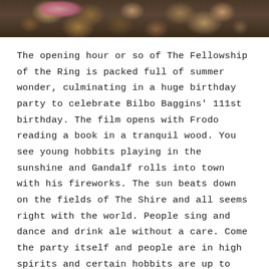[Figure (photo): A crowd photograph showing multiple people gathered together, likely at a party or festive gathering. The image is cropped at the top of the page showing heads and upper bodies of people.]
The opening hour or so of The Fellowship of the Ring is packed full of summer wonder, culminating in a huge birthday party to celebrate Bilbo Baggins' 111st birthday. The film opens with Frodo reading a book in a tranquil wood. You see young hobbits playing in the sunshine and Gandalf rolls into town with his fireworks. The sun beats down on the fields of The Shire and all seems right with the world. People sing and dance and drink ale without a care. Come the party itself and people are in high spirits and certain hobbits are up to mischief as The Shire congregates to celebrate Bilbo. Some magical, dramatic